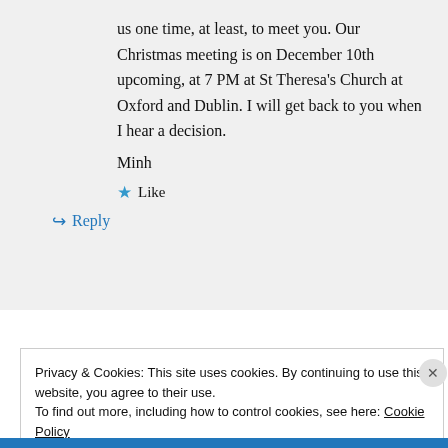us one time, at least, to meet you. Our Christmas meeting is on December 10th upcoming, at 7 PM at St Theresa's Church at Oxford and Dublin. I will get back to you when I hear a decision.
Minh
★ Like
↪ Reply
Privacy & Cookies: This site uses cookies. By continuing to use this website, you agree to their use. To find out more, including how to control cookies, see here: Cookie Policy
Close and accept